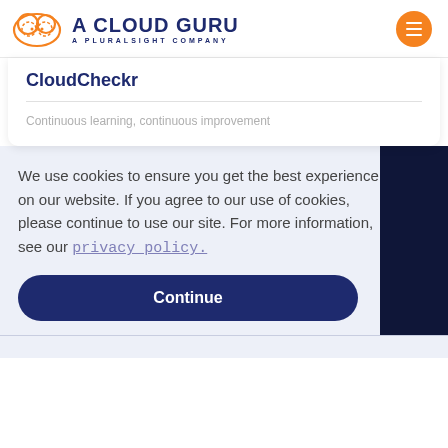A CLOUD GURU — A PLURALSIGHT COMPANY
CloudCheckr
Continuous learning, continuous improvement
We use cookies to ensure you get the best experience on our website. If you agree to our use of cookies, please continue to use our site. For more information, see our privacy policy.
Continue